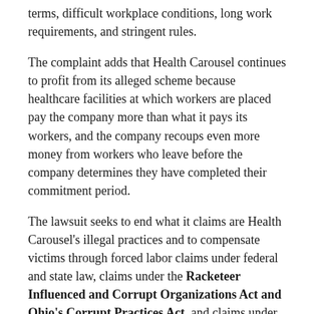terms, difficult workplace conditions, long work requirements, and stringent rules.
The complaint adds that Health Carousel continues to profit from its alleged scheme because healthcare facilities at which workers are placed pay the company more than what it pays its workers, and the company recoups even more money from workers who leave before the company determines they have completed their commitment period.
The lawsuit seeks to end what it claims are Health Carousel’s illegal practices and to compensate victims through forced labor claims under federal and state law, claims under the Racketeer Influenced and Corrupt Organizations Act and Ohio’s Corrupt Practices Act, and claims under the Fair Labor Standards Act.
Ultimately, Carmen, Flores, and Amistoso allege their circumstances aren’t unique. The Cincinnati